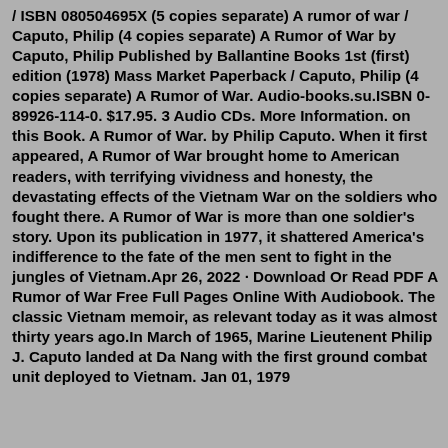/ ISBN 080504695X (5 copies separate) A rumor of war / Caputo, Philip (4 copies separate) A Rumor of War by Caputo, Philip Published by Ballantine Books 1st (first) edition (1978) Mass Market Paperback / Caputo, Philip (4 copies separate) A Rumor of War. Audio-books.su.ISBN 0-89926-114-0. $17.95. 3 Audio CDs. More Information. on this Book. A Rumor of War. by Philip Caputo. When it first appeared, A Rumor of War brought home to American readers, with terrifying vividness and honesty, the devastating effects of the Vietnam War on the soldiers who fought there. A Rumor of War is more than one soldier's story. Upon its publication in 1977, it shattered America's indifference to the fate of the men sent to fight in the jungles of Vietnam.Apr 26, 2022 · Download Or Read PDF A Rumor of War Free Full Pages Online With Audiobook. The classic Vietnam memoir, as relevant today as it was almost thirty years ago.In March of 1965, Marine Lieutenent Philip J. Caputo landed at Da Nang with the first ground combat unit deployed to Vietnam. Jan 01, 1979...